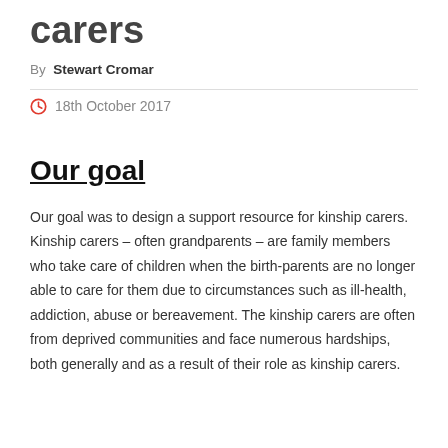carers
By Stewart Cromar
18th October 2017
Our goal
Our goal was to design a support resource for kinship carers. Kinship carers – often grandparents – are family members who take care of children when the birth-parents are no longer able to care for them due to circumstances such as ill-health, addiction, abuse or bereavement. The kinship carers are often from deprived communities and face numerous hardships, both generally and as a result of their role as kinship carers.